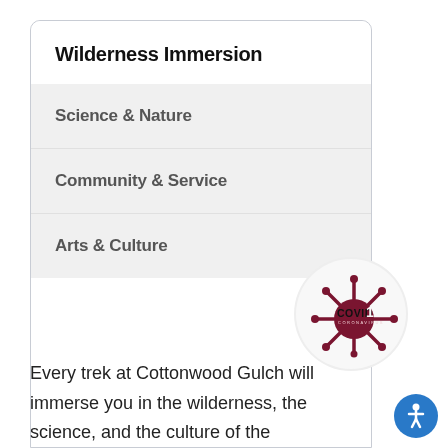Wilderness Immersion
Science & Nature
Community & Service
Arts & Culture
[Figure (logo): COVID-19 coronavirus badge logo with dark red virus illustration and text 'COVID 19 CORONAVIRUS']
Every trek at Cottonwood Gulch will immerse you in the wilderness, the science, and the culture of the
[Figure (illustration): Blue circular accessibility icon button with white person figure]